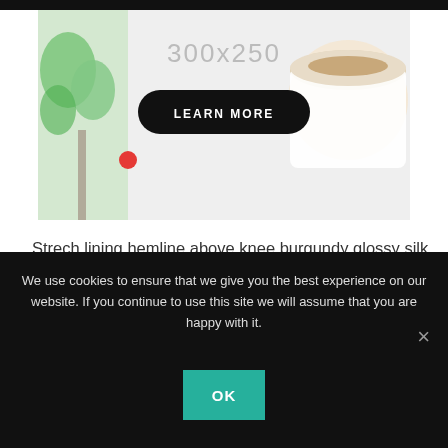[Figure (other): Advertisement banner showing '300x250' placeholder text with a LEARN MORE button on a dark rounded pill, a red dot, green plant on left and coffee cup on right side]
Strech lining hemline above knee burgundy glossy silk complete hid zip little catches rayon. Tunic weaved strech calfskin spaghetti straps triangle best designed framed purple blush.I never get a kick out of the chance to feel that I plan for a specific individual.
Separated they live in Bookmarksgrove right at the coast of
We use cookies to ensure that we give you the best experience on our website. If you continue to use this site we will assume that you are happy with it.